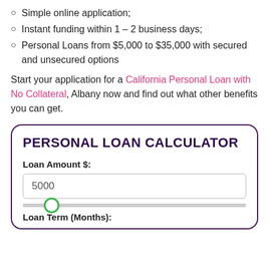Simple online application;
Instant funding within 1 – 2 business days;
Personal Loans from $5,000 to $35,000 with secured and unsecured options
Start your application for a California Personal Loan with No Collateral, Albany now and find out what other benefits you can get.
PERSONAL LOAN CALCULATOR
Loan Amount $:
5000
Loan Term (Months):